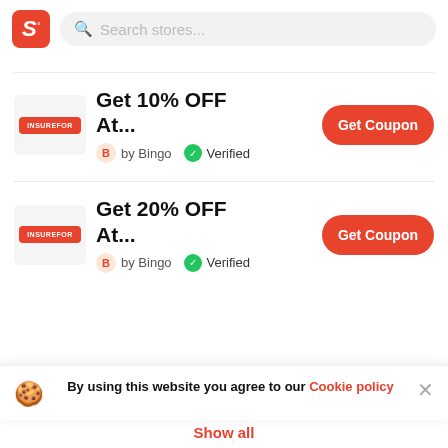Search stores...
Get 10% OFF At...
by Bingo
Verified
Get 20% OFF At...
by Bingo
Verified
By using this website you agree to our Cookie policy